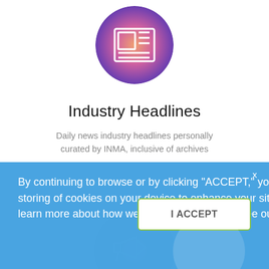[Figure (illustration): Circular image showing a newspaper icon on a blurry colorful background with pink/orange/purple tones]
Industry Headlines
Daily news industry headlines personally curated by INMA, inclusive of archives
[Figure (illustration): Partial circular image with blue/purple colorful background and a megaphone/speaker icon]
By continuing to browse or by clicking “ACCEPT,” you agree to the storing of cookies on your device to enhance your site experience. To learn more about how we use cookies, please see our privacy policy.